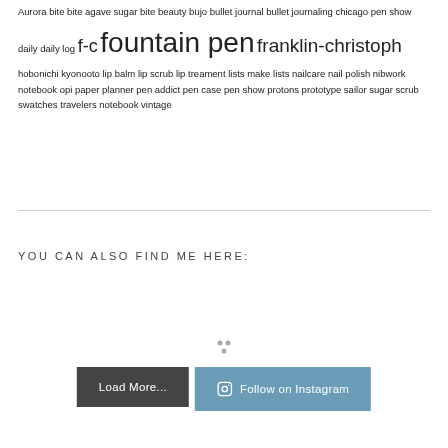Aurora bite bite agave sugar bite beauty bujo bullet journal bullet journaling chicago pen show daily daily log f-c fountain pen franklin-christoph hobonichi kyonooto lip balm lip scrub lip treament lists make lists nailcare nail polish nibwork notebook opi paper planner pen addict pen case pen show protons prototype sailor sugar scrub swatches travelers notebook vintage
YOU CAN ALSO FIND ME HERE:
[Figure (other): Loading spinner / dots animation indicator]
Load More...
Follow on Instagram